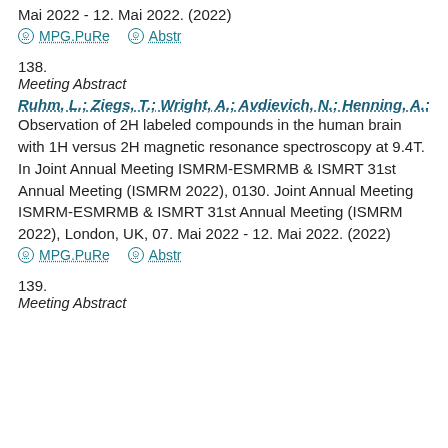ISMRT 31st Annual Meeting (ISMRM 2022), London, UK, 07. Mai 2022 - 12. Mai 2022. (2022)
MPG.PuRe   Abstr
138.
Meeting Abstract
Ruhm, L.; Ziegs, T.; Wright, A.; Avdievich, N.; Henning, A.: Observation of 2H labeled compounds in the human brain with 1H versus 2H magnetic resonance spectroscopy at 9.4T. In Joint Annual Meeting ISMRM-ESMRMB & ISMRT 31st Annual Meeting (ISMRM 2022), 0130. Joint Annual Meeting ISMRM-ESMRMB & ISMRT 31st Annual Meeting (ISMRM 2022), London, UK, 07. Mai 2022 - 12. Mai 2022. (2022)
MPG.PuRe   Abstr
139.
Meeting Abstract